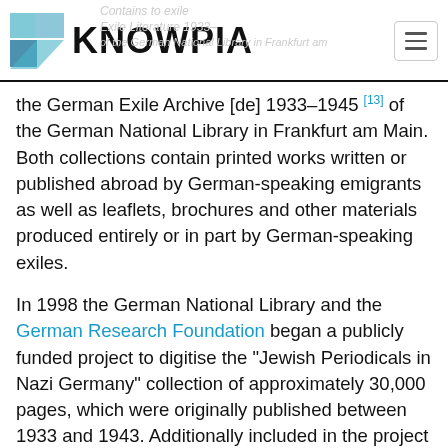KNOWPIA
the German Exile Archive [de] 1933–1945 [13] of the German National Library in Frankfurt am Main. Both collections contain printed works written or published abroad by German-speaking emigrants as well as leaflets, brochures and other materials produced entirely or in part by German-speaking exiles.
In 1998 the German National Library and the German Research Foundation began a publicly funded project to digitise the "Jewish Periodicals in Nazi Germany" collection of approximately 30,000 pages, which were originally published between 1933 and 1943. Additionally included in the project were 30 German-language emigrant publications "German-language exile journals 1933–1945", consisting of around